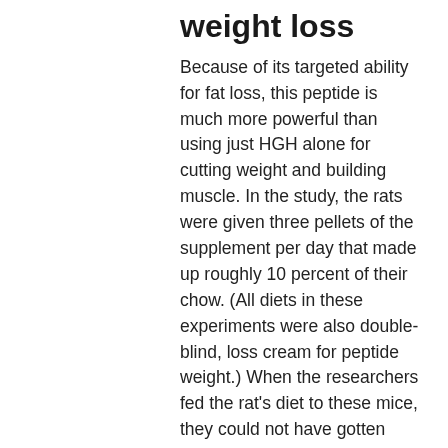weight loss
Because of its targeted ability for fat loss, this peptide is much more powerful than using just HGH alone for cutting weight and building muscle. In the study, the rats were given three pellets of the supplement per day that made up roughly 10 percent of their chow. (All diets in these experiments were also double-blind, loss cream for peptide weight.) When the researchers fed the rat's diet to these mice, they could not have gotten enough of the protein-rich chow. They were still overweight and had gained more fat than mice who took the same diet and only received a single pellet of the supplement, side effects of stopping steroids too quickly. It's known that protein is the primary building block of muscle, and it's also the primary component of what constitutes a healthy